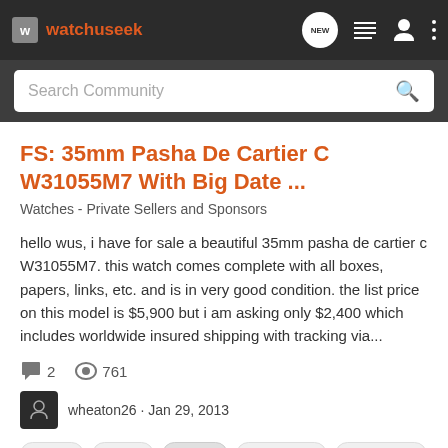watchuseek
FS: 35mm Pasha De Cartier C W31055M7 With Big Date ...
Watches - Private Sellers and Sponsors
hello wus, i have for sale a beautiful 35mm pasha de cartier c W31055M7. this watch comes complete with all boxes, papers, links, etc. and is in very good condition. the list price on this model is $5,900 but i am asking only $2,400 which includes worldwide insured shipping with tracking via...
2 comments · 761 views
wheaton26 · Jan 29, 2013
cartier
ladies
pasha
w31055m7
wheaton26